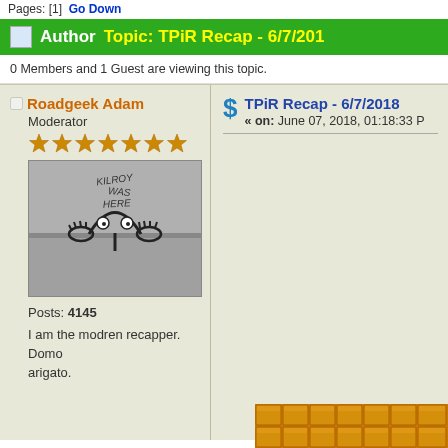Pages: [1]  Go Down
Author    Topic: TPiR Recap - 6/7/2018
0 Members and 1 Guest are viewing this topic.
Roadgeek Adam
Moderator
Posts: 4145
I am the modren recapper. Domo arigato.
TPiR Recap - 6/7/2018
« on: June 07, 2018, 01:18:33 P
[Figure (illustration): Kilroy Was Here graffiti drawing — cartoon face peeking over a wall with hands gripping the top edge, with text 'KILROY WAS HERE' written above]
[Figure (other): Golden/orange tile grid pattern at bottom of page]